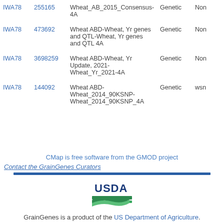| Marker | ID | Map | Type | Link |
| --- | --- | --- | --- | --- |
| IWA78 | 255165 | Wheat_AB_2015_Consensus-4A | Genetic | Non |
| IWA78 | 473692 | Wheat ABD-Wheat, Yr genes and QTL-Wheat, Yr genes and QTL 4A | Genetic | Non |
| IWA78 | 3698259 | Wheat ABD-Wheat, Yr Update, 2021-Wheat_Yr_2021-4A | Genetic | Non |
| IWA78 | 144092 | Wheat ABD-Wheat_2014_90KSNP-Wheat_2014_90KSNP_4A | Genetic | wsn |
CMap is free software from the GMOD project
Contact the GrainGenes Curators
[Figure (logo): USDA logo with green landscape graphic]
GrainGenes is a product of the US Department of Agriculture.